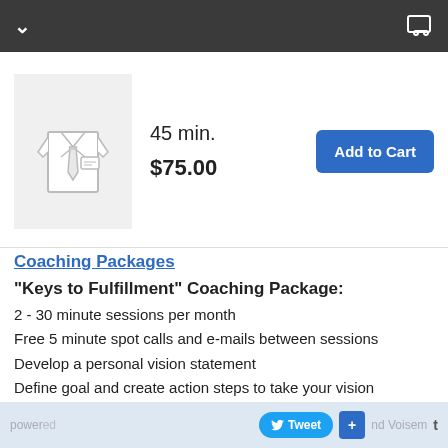[Figure (illustration): Shirt and tie icon in gray outline style on light gray background]
45 min.
$75.00
Add to Cart
Coaching Packages
"Keys to Fulfillment" Coaching Package:
2 - 30 minute sessions per month
Free 5 minute spot calls and e-mails between sessions
Develop a personal vision statement
Define goal and create action steps to take your vision statement from conception to reality
Purpose accountability of your support structure to
powered by ... and Voisem  Tweet  +  t